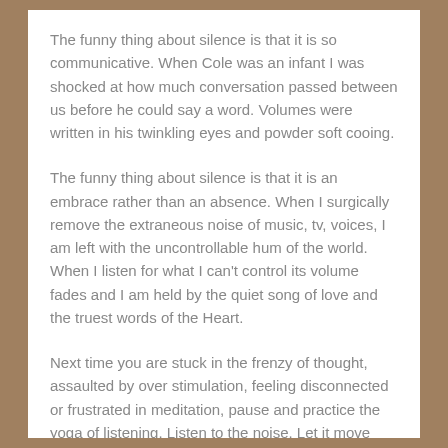The funny thing about silence is that it is so communicative. When Cole was an infant I was shocked at how much conversation passed between us before he could say a word. Volumes were written in his twinkling eyes and powder soft cooing.
The funny thing about silence is that it is an embrace rather than an absence. When I surgically remove the extraneous noise of music, tv, voices, I am left with the uncontrollable hum of the world. When I listen for what I can't control its volume fades and I am held by the quiet song of love and the truest words of the Heart.
Next time you are stuck in the frenzy of thought, assaulted by over stimulation, feeling disconnected or frustrated in meditation, pause and practice the yoga of listening. Listen to the noise. Let it move you into silence. And feel the harmonic embrace of conscious life pulsing with movement.